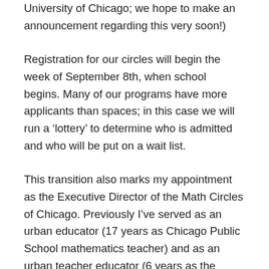University of Chicago; we hope to make an announcement regarding this very soon!)
Registration for our circles will begin the week of September 8th, when school begins. Many of our programs have more applicants than spaces; in this case we will run a ‘lottery’ to determine who is admitted and who will be put on a wait list.
This transition also marks my appointment as the Executive Director of the Math Circles of Chicago. Previously I’ve served as an urban educator (17 years as Chicago Public School mathematics teacher) and as an urban teacher educator (6 years as the Director of the Secondary Math and Science component at the University of Chicago’s